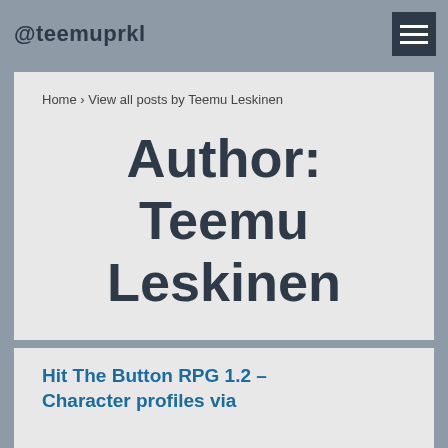@teemuprkl
Home › View all posts by Teemu Leskinen
Author: Teemu Leskinen
Hit The Button RPG 1.2 – Character profiles via